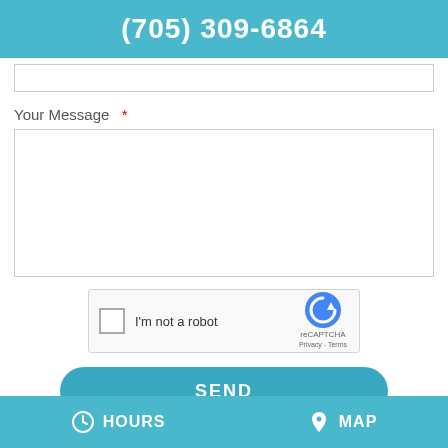(705) 309-6864
Your Message *
[Figure (screenshot): reCAPTCHA widget with checkbox, 'I'm not a robot' text, and reCAPTCHA logo with Privacy and Terms links]
SEND
ABOUT US
HOURS  MAP